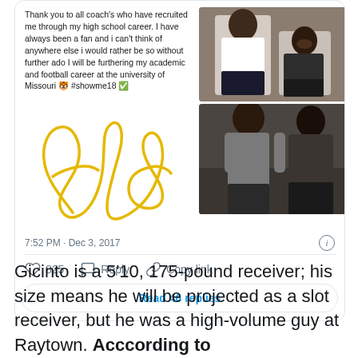[Figure (screenshot): Screenshot of a tweet showing text about committing to the University of Missouri with a yellow signature/scrawl and two photos of two people posing together. Tweet timestamp: 7:52 PM · Dec 3, 2017. 825 likes. Reply and Copy link options. Read 46 replies button.]
Gicinto is a 5'10, 175-pound receiver; his size means he will be projected as a slot receiver, but he was a high-volume guy at Raytown. According to